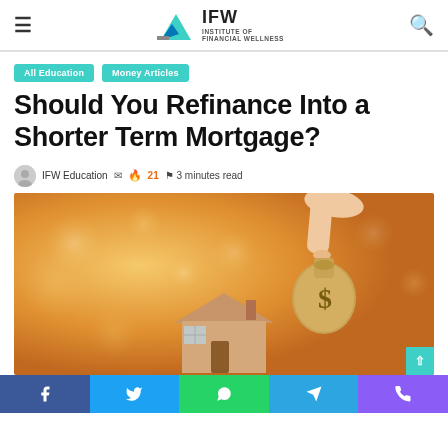IFW Institute of Financial Wellness
All Education
Money Articles
Should You Refinance Into a Shorter Term Mortgage?
IFW Education  21  3 minutes read
[Figure (photo): Person holding a money bag with dollar sign above a miniature house model against warm bokeh background]
Social share bar: Facebook, Twitter, WhatsApp, Telegram, Phone